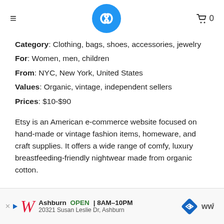≡  [logo]  🛒 0
Category: Clothing, bags, shoes, accessories, jewelry
For: Women, men, children
From: NYC, New York, United States
Values: Organic, vintage, independent sellers
Prices: $10-$90
Etsy is an American e-commerce website focused on hand-made or vintage fashion items, homeware, and craft supplies. It offers a wide range of comfy, luxury breastfeeding-friendly nightwear made from organic cotton.
[Figure (screenshot): Walgreens ad bar: Ashburn OPEN 8AM-10PM, 20321 Susan Leslie Dr, Ashburn]